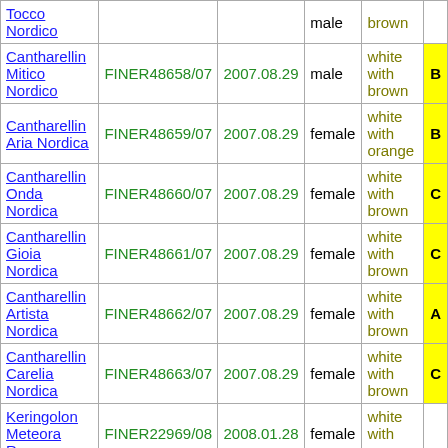| Name | Registration | Date | Sex | Color | Class |
| --- | --- | --- | --- | --- | --- |
| Tocco Nordico |  |  | male | brown |  |
| Cantharellin Mitico Nordico | FINER48658/07 | 2007.08.29 | male | white with brown | B |
| Cantharellin Aria Nordica | FINER48659/07 | 2007.08.29 | female | white with orange | B |
| Cantharellin Onda Nordica | FINER48660/07 | 2007.08.29 | female | white with brown | C |
| Cantharellin Gioia Nordica | FINER48661/07 | 2007.08.29 | female | white with brown | C |
| Cantharellin Artista Nordica | FINER48662/07 | 2007.08.29 | female | white with brown | A |
| Cantharellin Carelia Nordica | FINER48663/07 | 2007.08.29 | female | white with brown | C |
| Keringolon Meteora Rara | FINER22969/08 | 2008.01.28 | female | white with orange |  |
| Foogel Emmanuel | FINER45489/08 | 2008.08.09 | male | white with brown |  |
| Foogel Erasmus | FINER45490/08 | 2008.08.09 | male | white with brown |  |
| Foogel Ermes | FINER45491/08 | 2008.08.09 | male | white with brown |  |